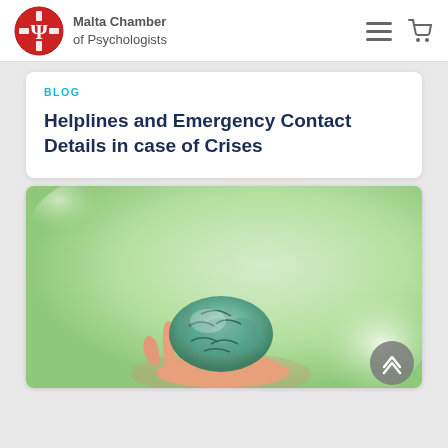Malta Chamber of Psychologists
BLOG
Helplines and Emergency Contact Details in case of Crises
[Figure (photo): A hand holding a green crystalline brain model against a soft green bokeh background]